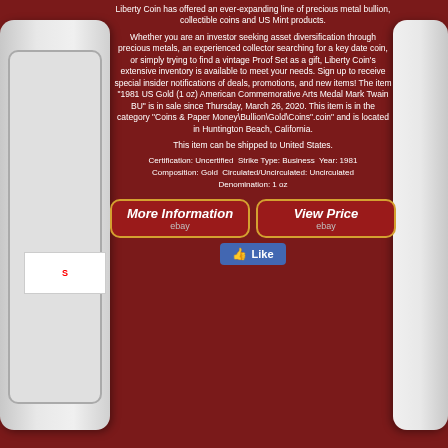Liberty Coin has offered an ever-expanding line of precious metal bullion, collectible coins and US Mint products.
Whether you are an investor seeking asset diversification through precious metals, an experienced collector searching for a key date coin, or simply trying to find a vintage Proof Set as a gift, Liberty Coin's extensive inventory is available to meet your needs. Sign up to receive special insider notifications of deals, promotions, and new items! The item "1981 US Gold (1 oz) American Commemorative Arts Medal Mark Twain BU" is in sale since Thursday, March 26, 2020. This item is in the category "Coins & Paper Money\Bullion\Gold\Coins".coin" and is located in Huntington Beach, California.
This item can be shipped to United States.
Certification: Uncertified Strike Type: Business Year: 1981 Composition: Gold Circulated/Uncirculated: Uncirculated Denomination: 1 oz
[Figure (other): Two eBay buttons: 'More Information' and 'View Price' with eBay logo, and a Facebook Like button below]
[Figure (other): Coin slab decorative elements on left and right sides of the page]